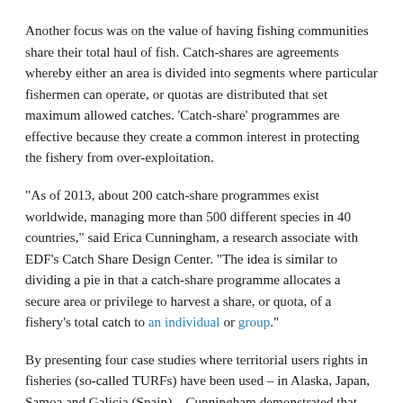Another focus was on the value of having fishing communities share their total haul of fish. Catch-shares are agreements whereby either an area is divided into segments where particular fishermen can operate, or quotas are distributed that set maximum allowed catches. 'Catch-share' programmes are effective because they create a common interest in protecting the fishery from over-exploitation.
"As of 2013, about 200 catch-share programmes exist worldwide, managing more than 500 different species in 40 countries," said Erica Cunningham, a research associate with EDF's Catch Share Design Center. "The idea is similar to dividing a pie in that a catch-share programme allocates a secure area or privilege to harvest a share, or quota, of a fishery's total catch to an individual or group."
By presenting four case studies where territorial users rights in fisheries (so-called TURFs) have been used – in Alaska, Japan, Samoa and Galicia (Spain) – Cunningham demonstrated that fishermen under catch-shares benefit from greater economic stability, higher earnings